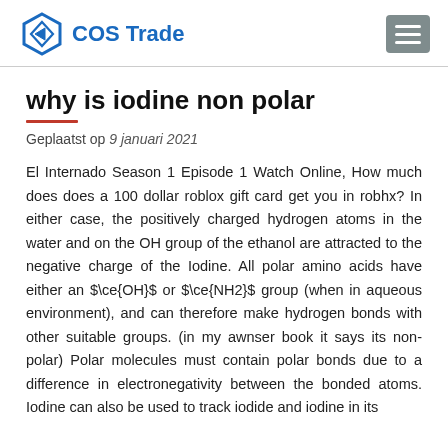COS Trade
why is iodine non polar
Geplaatst op 9 januari 2021
El Internado Season 1 Episode 1 Watch Online, How much does does a 100 dollar roblox gift card get you in robhx? In either case, the positively charged hydrogen atoms in the water and on the OH group of the ethanol are attracted to the negative charge of the Iodine. All polar amino acids have either an $\ce{OH}$ or $\ce{NH2}$ group (when in aqueous environment), and can therefore make hydrogen bonds with other suitable groups. (in my awnser book it says its non-polar) Polar molecules must contain polar bonds due to a difference in electronegativity between the bonded atoms. Iodine can also be used to track iodide and iodine in its